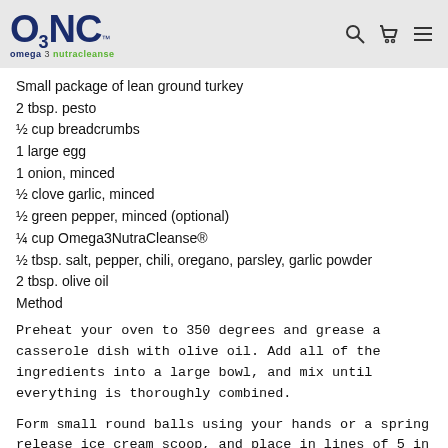Omega 3 NutraCleanse logo with navigation icons
Small package of lean ground turkey
2 tbsp. pesto
½ cup breadcrumbs
1 large egg
1 onion, minced
½ clove garlic, minced
½ green pepper, minced (optional)
¼ cup Omega3NutraCleanse®
½ tbsp. salt, pepper, chili, oregano, parsley, garlic powder
2 tbsp. olive oil
Method
Preheat your oven to 350 degrees and grease a casserole dish with olive oil. Add all of the ingredients into a large bowl, and mix until everything is thoroughly combined.
Form small round balls using your hands or a spring release ice cream scoop, and place in lines of 5 in the casserole dish.